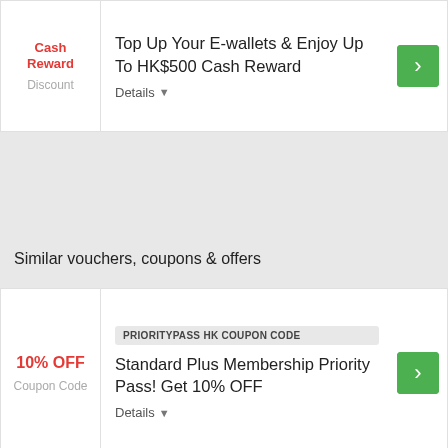Cash Reward
Discount
Top Up Your E-wallets & Enjoy Up To HK$500 Cash Reward
Details
Similar vouchers, coupons & offers
PRIORITYPASS HK COUPON CODE
10% OFF
Coupon Code
Standard Plus Membership Priority Pass! Get 10% OFF
Details
PRIORITYPASS HK COUPON CODE
20% OFF
Get 20% OFF Standard